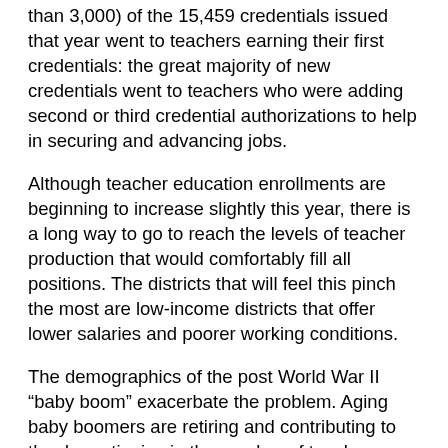than 3,000) of the 15,459 credentials issued that year went to teachers earning their first credentials: the great majority of new credentials went to teachers who were adding second or third credential authorizations to help in securing and advancing jobs.
Although teacher education enrollments are beginning to increase slightly this year, there is a long way to go to reach the levels of teacher production that would comfortably fill all positions. The districts that will feel this pinch the most are low-income districts that offer lower salaries and poorer working conditions.
The demographics of the post World War II “baby boom” exacerbate the problem. Aging baby boomers are retiring and contributing to the dramatic rise in the number of teacher retirements. In 2009–2010, the California State Teacher Retirement System reported 15,493 new retirees, a 42 percent increase from 2005–2006. In effect, more teachers retired in 2010–2011 than had been trained in all of California’s colleges and universities.